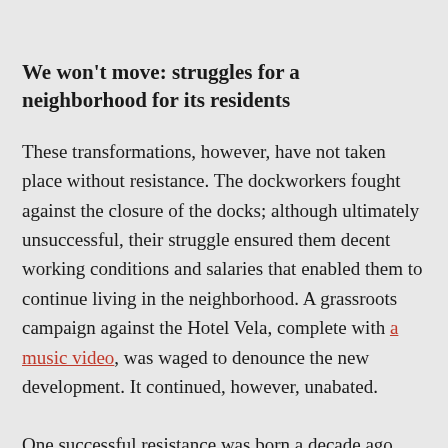We won't move: struggles for a neighborhood for its residents
These transformations, however, have not taken place without resistance. The dockworkers fought against the closure of the docks; although ultimately unsuccessful, their struggle ensured them decent working conditions and salaries that enabled them to continue living in the neighborhood. A grassroots campaign against the Hotel Vela, complete with a music video, was waged to denounce the new development. It continued, however, unabated.
One successful resistance was born a decade ago from